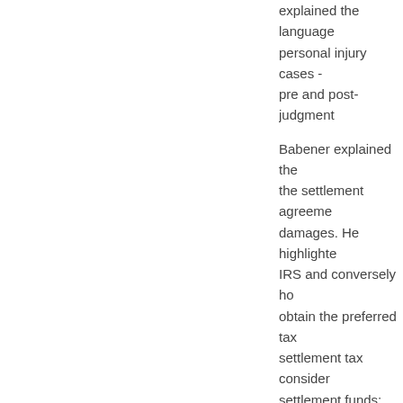explained the language personal injury cases - pre and post-judgment
Babener explained the the settlement agreeme damages. He highlighte IRS and conversely ho obtain the preferred tax settlement tax consider settlement funds; and t
Jack Meligan
Meligan, a founder and Settlement Planning ar personal injury claiman from a qualified profess of a settlement plan. In
Summarized th why structured with certain bu
Cited statistics the frequency